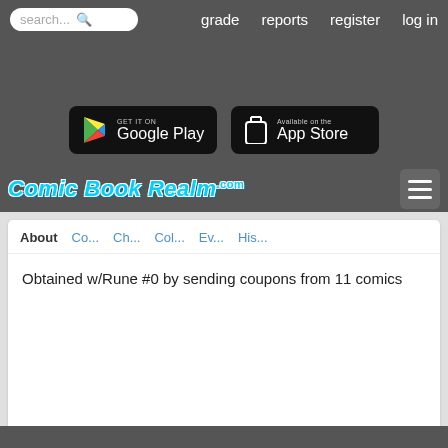search... grade reports register log in
[Figure (logo): Comic Book Realm .com logo with Google Play and App Store download buttons]
About Co... Ch... Col... Ev... His...
Obtained w/Rune #0 by sending coupons from 11 comics